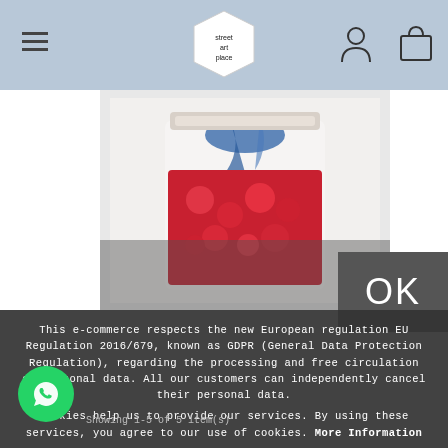[Figure (screenshot): Website header with hamburger menu, 'street art place' logo (hexagonal shape), user icon and shopping bag icon on blue-gray background]
[Figure (photo): Product photo of a glass jar filled with red liquid and berries, with blue ink or paint dropping in from above]
[Figure (other): Dark gray OK button overlay in lower right]
This e-commerce respects the new European regulation EU Regulation 2016/679, known as GDPR (General Data Protection Regulation), regarding the processing and free circulation of personal data. All our customers can independently cancel their personal data.
Cookies help us to provide our services. By using these services, you agree to our use of cookies. More Information
[Figure (other): WhatsApp green circular button with phone handset icon]
Showing 1-5 of 5 item(s)